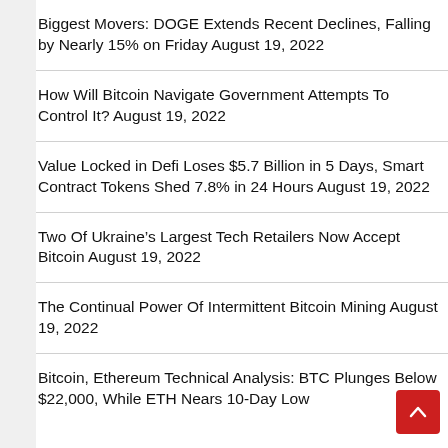Biggest Movers: DOGE Extends Recent Declines, Falling by Nearly 15% on Friday August 19, 2022
How Will Bitcoin Navigate Government Attempts To Control It? August 19, 2022
Value Locked in Defi Loses $5.7 Billion in 5 Days, Smart Contract Tokens Shed 7.8% in 24 Hours August 19, 2022
Two Of Ukraine’s Largest Tech Retailers Now Accept Bitcoin August 19, 2022
The Continual Power Of Intermittent Bitcoin Mining August 19, 2022
Bitcoin, Ethereum Technical Analysis: BTC Plunges Below $22,000, While ETH Nears 10-Day Low